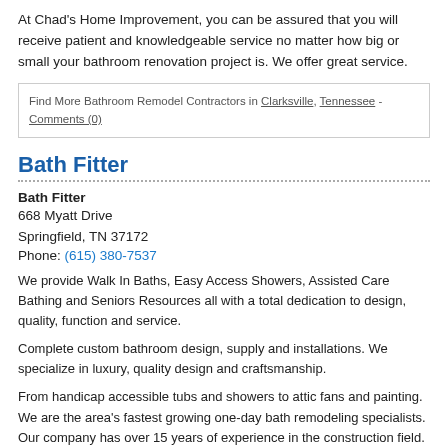At Chad's Home Improvement, you can be assured that you will receive patient and knowledgeable service no matter how big or small your bathroom renovation project is. We offer great service.
Find More Bathroom Remodel Contractors in Clarksville, Tennessee - Comments (0)
Bath Fitter
Bath Fitter
668 Myatt Drive
Springfield, TN 37172
Phone: (615) 380-7537
We provide Walk In Baths, Easy Access Showers, Assisted Care Bathing and Seniors Resources all with a total dedication to design, quality, function and service.
Complete custom bathroom design, supply and installations. We specialize in luxury, quality design and craftsmanship.
From handicap accessible tubs and showers to attic fans and painting. We are the area's fastest growing one-day bath remodeling specialists. Our company has over 15 years of experience in the construction field.
We do all remodeling services from plumbing, electric, framing,